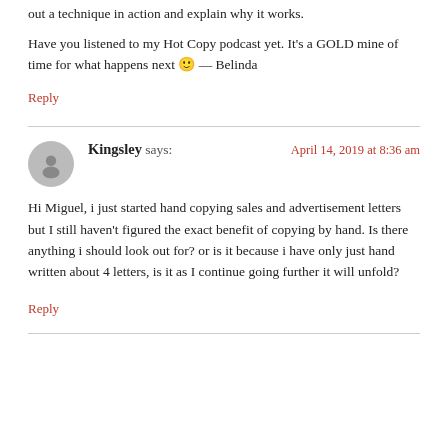out a technique in action and explain why it works.
Have you listened to my Hot Copy podcast yet. It's a GOLD mine of time for what happens next 🙂 — Belinda
Reply
Kingsley says:
April 14, 2019 at 8:36 am
Hi Miguel, i just started hand copying sales and advertisement letters but I still haven't figured the exact benefit of copying by hand. Is there anything i should look out for? or is it because i have only just hand written about 4 letters, is it as I continue going further it will unfold?
Reply